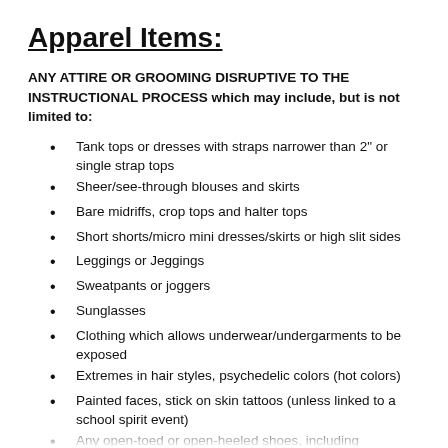Apparel Items:
ANY ATTIRE OR GROOMING DISRUPTIVE TO THE INSTRUCTIONAL PROCESS which may include, but is not limited to:
Tank tops or dresses with straps narrower than 2" or single strap tops
Sheer/see-through blouses and skirts
Bare midriffs, crop tops and halter tops
Short shorts/micro mini dresses/skirts or high slit sides
Leggings or Jeggings
Sweatpants or joggers
Sunglasses
Clothing which allows underwear/undergarments to be exposed
Extremes in hair styles, psychedelic colors (hot colors)
Painted faces, stick on skin tattoos (unless linked to a school spirit event)
Any open-toed or open-heeled shoes, including...